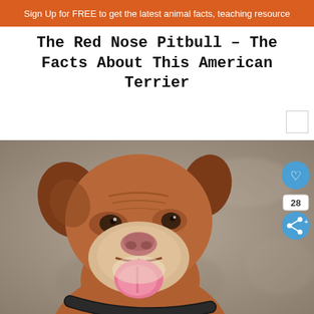Sign Up for FREE to get the latest animal facts, teaching resource
The Red Nose Pitbull – The Facts About This American Terrier
[Figure (photo): Close-up portrait of a red nose pitbull dog with a reddish-brown coat, white markings on the muzzle, floppy ears, wearing a black collar, mouth open with tongue visible, looking at camera with a happy expression. Background is blurred gray/tan concrete.]